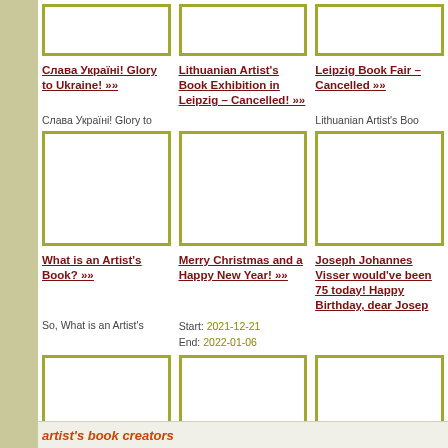[Figure (other): Blank white image box with olive/yellow-green border, top row left]
[Figure (other): Blank white image box with olive/yellow-green border, top row center]
[Figure (other): Blank white image box with olive/yellow-green border, top row right]
Слава Україні! Glory to Ukraine! »»
Lithuanian Artist's Book Exhibition in Leipzig – Cancelled! »»
Leipzig Book Fair – Cancelled »»
Слава Україні! Glory to
Lithuanian Artist's Boo
[Figure (other): Blank white image box with olive/yellow-green border, middle row left]
[Figure (other): Blank white image box with olive/yellow-green border, middle row center]
[Figure (other): Blank white image box with olive/yellow-green border, middle row right]
What is an Artist's Book? »»
Merry Christmas and a Happy New Year! »»
Joseph Johannes Visser would've been 75 today! Happy Birthday, dear Josep
So, What is an Artist's
Start: 2021-12-21
End: 2022-01-06
[Figure (other): Blank white image box with olive/yellow-green border, bottom row left]
[Figure (other): Blank white image box with olive/yellow-green border, bottom row center]
[Figure (other): Blank white image box with olive/yellow-green border, bottom row right]
artist's book creators